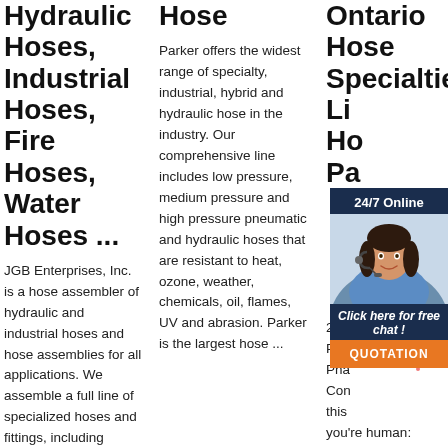Hydraulic Hoses, Industrial Hoses, Fire Hoses, Water Hoses ...
JGB Enterprises, Inc. is a hose assembler of hydraulic and industrial hoses and hose assemblies for all applications. We assemble a full line of specialized hoses and fittings, including
Hose
Parker offers the widest range of specialty, industrial, hybrid and hydraulic hose in the industry. Our comprehensive line includes low pressure, medium pressure and high pressure pneumatic and hydraulic hoses that are resistant to heat, ozone, weather, chemicals, oil, flames, UV and abrasion. Parker is the largest hose ...
Ontario Hose Specialties Li... Ho... Pa...
[Figure (photo): Customer service agent woman with headset, chat widget overlay with 24/7 Online header, Click here for free chat text, and orange QUOTATION button]
2 ð¤ Petr... Pha... Con... this you're human: Founded in 1973, Ontario Hose Specialties Limited has grown from a one man operation to a well